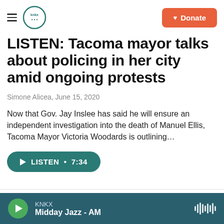KNKX | Donate
LISTEN: Tacoma mayor talks about policing in her city amid ongoing protests
Simone Alicea,  June 15, 2020
Now that Gov. Jay Inslee has said he will ensure an independent investigation into the death of Manuel Ellis, Tacoma Mayor Victoria Woodards is outlining…
[Figure (other): Audio player button: LISTEN • 7:34]
[Figure (photo): Partial image strip at bottom of article]
KNKX  Midday Jazz - AM